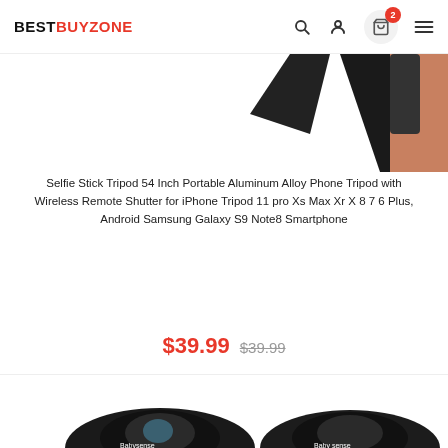BESTBUYZONE
[Figure (photo): Partial view of a selfie stick tripod product image, cropped at top]
Selfie Stick Tripod 54 Inch Portable Aluminum Alloy Phone Tripod with Wireless Remote Shutter for iPhone Tripod 11 pro Xs Max Xr X 8 7 6 Plus, Android Samsung Galaxy S9 Note8 Smartphone
$39.99  $39.99
[Figure (photo): Two black camera lens attachments labeled 'Babysense' and 'Baby sense']